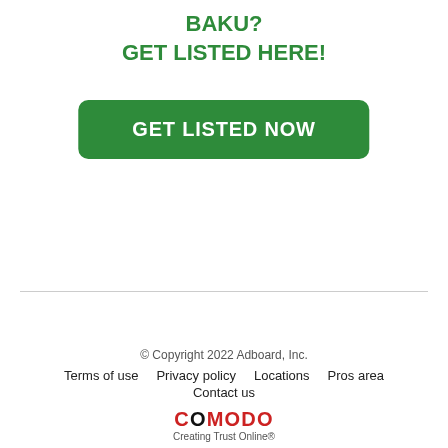BAKU?
GET LISTED HERE!
[Figure (other): Green rounded button with white bold text reading GET LISTED NOW]
© Copyright 2022 Adboard, Inc.
Terms of use   Privacy policy   Locations   Pros area
Contact us
COMODO Creating Trust Online®